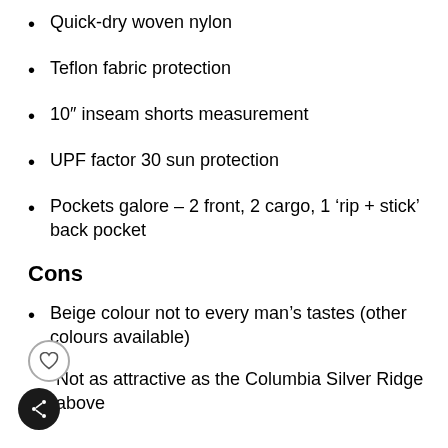Quick-dry woven nylon
Teflon fabric protection
10″ inseam shorts measurement
UPF factor 30 sun protection
Pockets galore – 2 front, 2 cargo, 1 ‘rip + stick’ back pocket
Cons
Beige colour not to every man’s tastes (other colours available)
Not as attractive as the Columbia Silver Ridge above